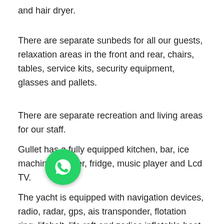and hair dryer.
There are separate sunbeds for all our guests, relaxation areas in the front and rear, chairs, tables, service kits, security equipment, glasses and pallets.
There are separate recreation and living areas for our staff.
Gullet has a fully equipped kitchen, bar, ice machine, freezer, fridge, music player and Lcd TV.
[Figure (logo): WhatsApp button - green circular icon with white phone handset]
The yacht is equipped with navigation devices, radio, radar, gps, ais transponder, flotation ring, lifebelt, life raft and zodiac inflatable boat. You can relax yourself in the wonderful blue waters of the Greek islands, Rhodes, Kos, Simi, Tlos, the magnificent blue waters of the Aegean Sea, Bodrum, Gokova, Bozburun, Marmaris and the Mediterranean sea with Fethiye, Gocek 12 islands, Blue Lagoon,